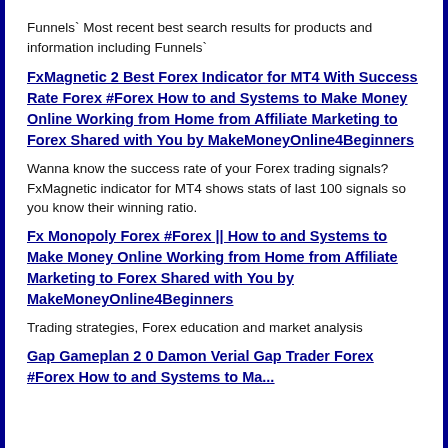Funnels` Most recent best search results for products and information including Funnels`
FxMagnetic 2 Best Forex Indicator for MT4 With Success Rate Forex #Forex How to and Systems to Make Money Online Working from Home from Affiliate Marketing to Forex Shared with You by MakeMoneyOnline4Beginners
Wanna know the success rate of your Forex trading signals? FxMagnetic indicator for MT4 shows stats of last 100 signals so you know their winning ratio.
Fx Monopoly Forex #Forex || How to and Systems to Make Money Online Working from Home from Affiliate Marketing to Forex Shared with You by MakeMoneyOnline4Beginners
Trading strategies, Forex education and market analysis
Gap Gameplan 2 0 Damon Verial Gap Trader Forex #Forex How to and Systems to Make Mo...